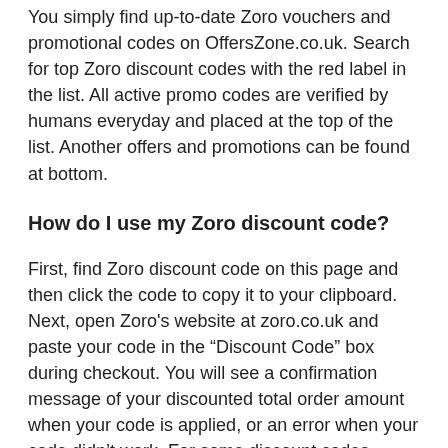You simply find up-to-date Zoro vouchers and promotional codes on OffersZone.co.uk. Search for top Zoro discount codes with the red label in the list. All active promo codes are verified by humans everyday and placed at the top of the list. Another offers and promotions can be found at bottom.
How do I use my Zoro discount code?
First, find Zoro discount code on this page and then click the code to copy it to your clipboard. Next, open Zoro's website at zoro.co.uk and paste your code in the “Discount Code” box during checkout. You will see a confirmation message of your discounted total order amount when your code is applied, or an error when your code didn’t work. For some discount codes having exclusions, we’ll notate in the description.
My Zoro promo code didn't work. What can I do?
In case, promo codes may not work because of special exceptions such as the limit for selected products, limited using time. Besides, you can meet the demand of adding your email address during applying the code. Be sure to read exclusions and descriptions carefully. You can also try another Zoro coupon code on this page until you find out the best discount.